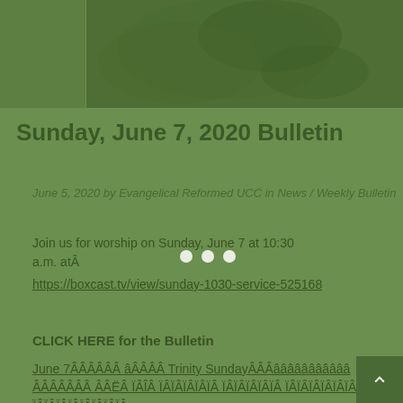[Figure (photo): Green-tinted banner image with floral/leaf background and a solid green rectangle on the left side]
Sunday, June 7, 2020 Bulletin
June 5, 2020 by Evangelical Reformed UCC in News / Weekly Bulletin
Join us for worship on Sunday, June 7 at 10:30 a.m. atÂ
https://boxcast.tv/view/sunday-1030-service-525168
CLICK HERE for the Bulletin
June 7ÂÂÂÂÂÂÂÂÂÂÂ  Trinity SundayÂÂÂÂÂÂÂÂÂÂÂÂÂÂÂÂÂÂÂÂÂÂÂÂÂÂÂÂÂÂÂÂÂÂÂÂÂÂÂÂÂÂÂÂÂÂÂÂÂÂÂÂÂÂÂÂÂÂÂÂÂÂÂÂÂÂÂÂÂÂÂÂ